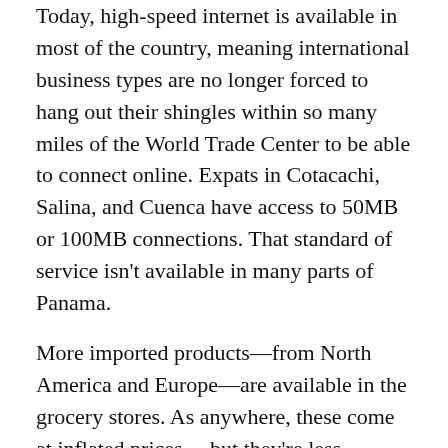Today, high-speed internet is available in most of the country, meaning international business types are no longer forced to hang out their shingles within so many miles of the World Trade Center to be able to connect online. Expats in Cotacachi, Salina, and Cuenca have access to 50MB or 100MB connections. That standard of service isn't available in many parts of Panama.
More imported products—from North America and Europe—are available in the grocery stores. As anywhere, these come at inflated prices… but they're less expensive than if you were to fly to the States to buy them and then carry them back to Ecuador with you… which, not so many years ago, was the only option.
One expat talked about how happy he is now to be able to buy peanut butter for his children. It's the little things, right?
Frankly, I wasn't excited to make the trip to Quito last week. Lots of business to take care of in Panama and elsewhere, and, after